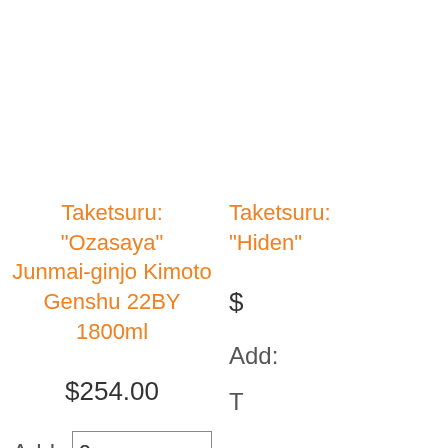Taketsuru: "Ozasaya" Junmai-ginjo Kimoto Genshu 22BY 1800ml
$254.00
Add: 0
Taketsuru: "Hiden"
$
Add:
T